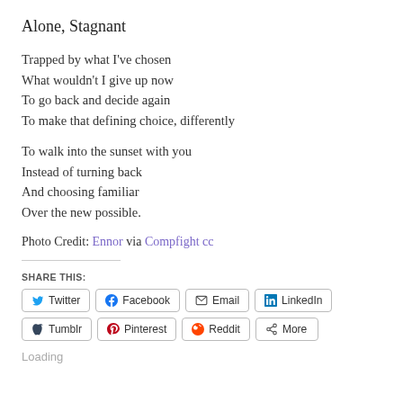Alone, Stagnant
Trapped by what I've chosen
What wouldn't I give up now
To go back and decide again
To make that defining choice, differently
To walk into the sunset with you
Instead of turning back
And choosing familiar
Over the new possible.
Photo Credit: Ennor via Compfight cc
SHARE THIS:
Twitter | Facebook | Email | LinkedIn | Tumblr | Pinterest | Reddit | More
Loading